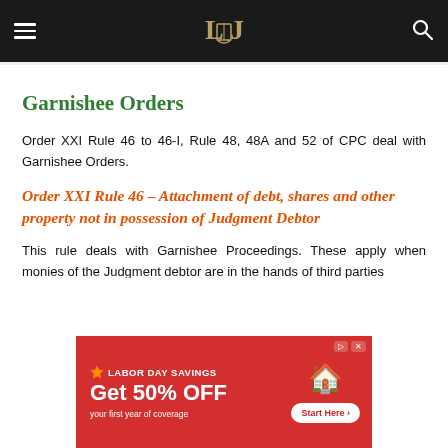Navigation bar with logo, hamburger menu, and search icon
Garnishee Orders
Order XXI Rule 46 to 46-I, Rule 48, 48A and 52 of CPC deal with Garnishee Orders.
Order XXI Rule 46 – Attachment of debt, shares and other property not in possession of Judgment Debtor
This rule deals with Garnishee Proceedings. These apply when monies of the Judgment debtor are in the hands of third parties
[Figure (other): Labor Day Savings advertisement banner: red background, Get 50% OFF, your first year of coverage, Start Here button, house icon]